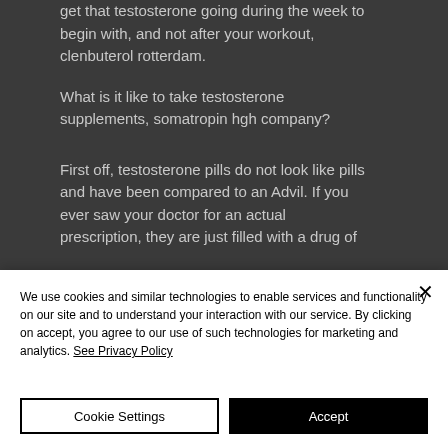get that testosterone going during the week to begin with, and not after your workout, clenbuterol rotterdam.
What is it like to take testosterone supplements, somatropin hgh company?
First off, testosterone pills do not look like pills and have been compared to an Advil. If you ever saw your doctor for an actual prescription, they are just filled with a drug of
We use cookies and similar technologies to enable services and functionality on our site and to understand your interaction with our service. By clicking on accept, you agree to our use of such technologies for marketing and analytics. See Privacy Policy